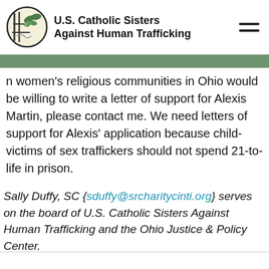U.S. Catholic Sisters Against Human Trafficking
n women's religious communities in Ohio would be willing to write a letter of support for Alexis Martin, please contact me. We need letters of support for Alexis' application because child-victims of sex traffickers should not spend 21-to-life in prison.
Sally Duffy, SC {sduffy@srcharitycinti.org} serves on the board of U.S. Catholic Sisters Against Human Trafficking and the Ohio Justice & Policy Center.